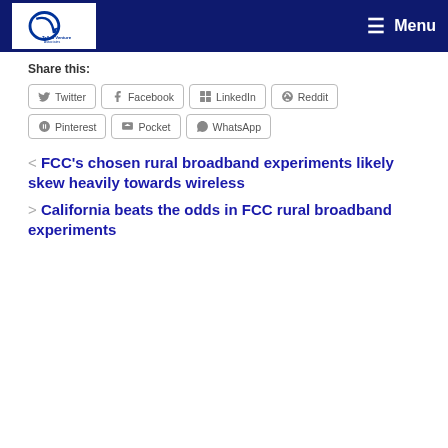Tellus Venture Associates — Menu
Share this:
Twitter
Facebook
LinkedIn
Reddit
Pinterest
Pocket
WhatsApp
< FCC's chosen rural broadband experiments likely skew heavily towards wireless
> California beats the odds in FCC rural broadband experiments